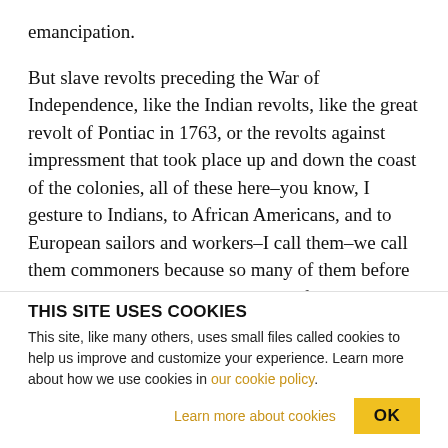emancipation.
But slave revolts preceding the War of Independence, like the Indian revolts, like the great revolt of Pontiac in 1763, or the revolts against impressment that took place up and down the coast of the colonies, all of these here–you know, I gesture to Indians, to African Americans, and to European sailors and workers–I call them–we call them commoners because so many of them before they came to colonies under terms of coerced labor, so many of them had participated in
THIS SITE USES COOKIES
This site, like many others, uses small files called cookies to help us improve and customize your experience. Learn more about how we use cookies in our cookie policy.
Learn more about cookies
OK